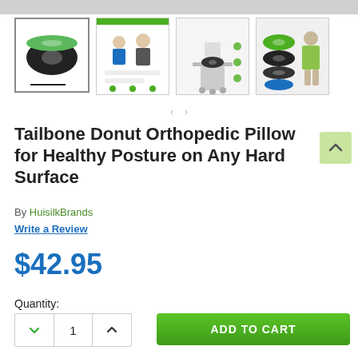[Figure (photo): Four product thumbnail images of a tailbone donut orthopedic pillow showing: 1) black and green donut cushion, 2) doctor/medical infographic, 3) chair with cushion diagram, 4) stacked product components with person]
Tailbone Donut Orthopedic Pillow for Healthy Posture on Any Hard Surface
By HuisilkBrands
Write a Review
$42.95
Quantity:
1
ADD TO CART